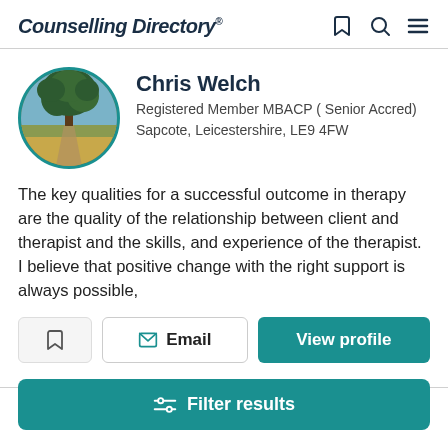Counselling Directory
[Figure (photo): Circular profile photo of Chris Welch showing a tree in a field with a path leading toward it, framed with a teal border]
Chris Welch
Registered Member MBACP ( Senior Accred)
Sapcote, Leicestershire, LE9 4FW
The key qualities for a successful outcome in therapy are the quality of the relationship between client and therapist and the skills, and experience of the therapist. I believe that positive change with the right support is always possible,
Email
View profile
Filter results